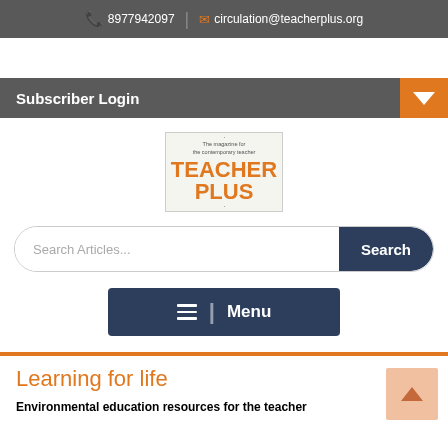8977942097 | circulation@teacherplus.org
Subscriber Login
[Figure (logo): Teacher Plus magazine logo with tagline 'The magazine for the contemporary teacher']
Search Articles...
Menu
Learning for life
Environmental education resources for the teacher